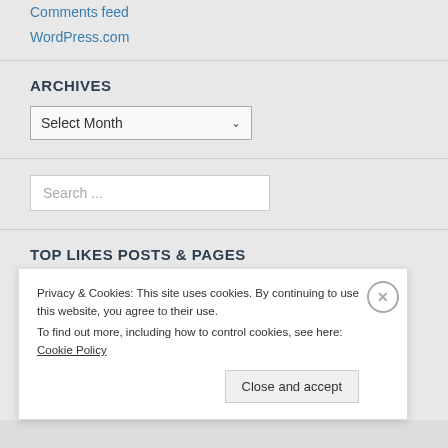Comments feed
WordPress.com
ARCHIVES
Select Month
Search ...
TOP LIKES POSTS & PAGES
About
"The human takes place in universe with its heart, not
Privacy & Cookies: This site uses cookies. By continuing to use this website, you agree to their use.
To find out more, including how to control cookies, see here: Cookie Policy
Close and accept